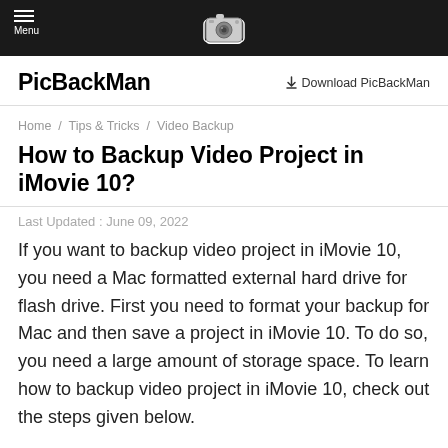Menu | PicBackMan (logo) | Download PicBackMan
PicBackMan
Download PicBackMan
Home / Tips & Tricks / Video Backup
How to Backup Video Project in iMovie 10?
Last Updated : June 09, 2022
If you want to backup video project in iMovie 10, you need a Mac formatted external hard drive for flash drive. First you need to format your backup for Mac and then save a project in iMovie 10. To do so, you need a large amount of storage space. To learn how to backup video project in iMovie 10, check out the steps given below.